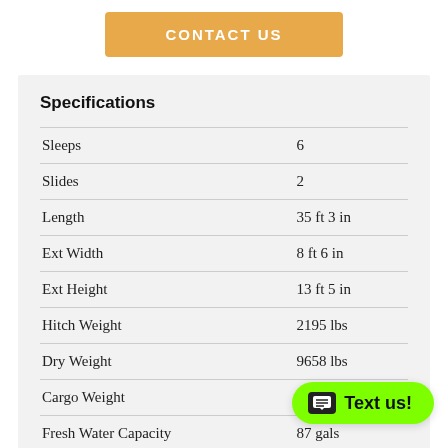CONTACT US
Specifications
| Specification | Value |
| --- | --- |
| Sleeps | 6 |
| Slides | 2 |
| Length | 35 ft 3 in |
| Ext Width | 8 ft 6 in |
| Ext Height | 13 ft 5 in |
| Hitch Weight | 2195 lbs |
| Dry Weight | 9658 lbs |
| Cargo Weight | 4537 lbs |
| Fresh Water Capacity | 87 gals |
| Grey Water Capacity | 38 gals |
| Black Water Capacity | 38 gals |
Text us!